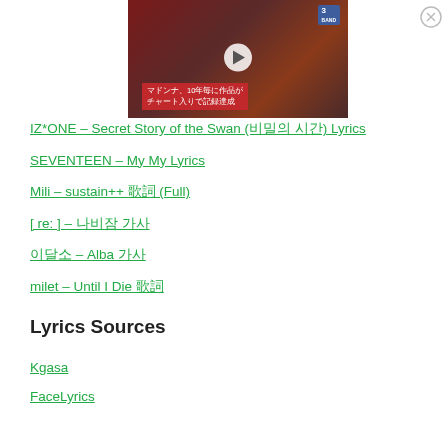[Figure (screenshot): Video thumbnail showing a person in stylized fashion clothing with Japanese text overlay reading マドンナ、10年毎に作品がチャート入りで記録達成 and a play button in center, with a logo badge in top right corner]
IZ*ONE – Secret Story of the Swan (비밀의 시간) Lyrics
SEVENTEEN – My My Lyrics
Mili – sustain++ 歌詞 (Full)
[ re: ] – 나비잠 가사
이달소 – Alba 가사
milet – Until I Die 歌詞
Lyrics Sources
Kgasa
FaceLyrics